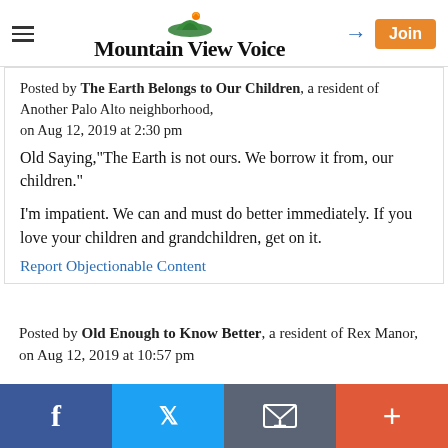Mountain View Voice
Posted by The Earth Belongs to Our Children, a resident of Another Palo Alto neighborhood, on Aug 12, 2019 at 2:30 pm
Old Saying,"The Earth is not ours. We borrow it from, our children."

I'm impatient. We can and must do better immediately. If you love your children and grandchildren, get on it.
Report Objectionable Content
Posted by Old Enough to Know Better, a resident of Rex Manor,
on Aug 12, 2019 at 10:57 pm